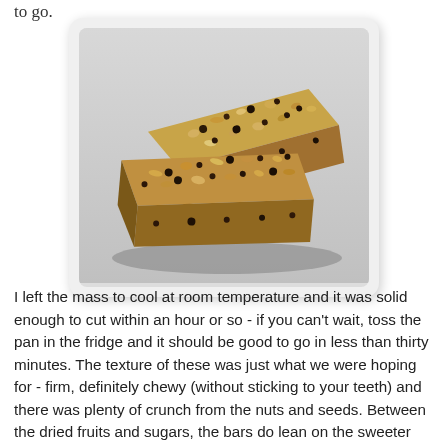to go.
[Figure (photo): Two granola/muesli bars with oats, seeds, and dried fruits (e.g. raisins) displayed on a white background, photographed from above at an angle.]
I left the mass to cool at room temperature and it was solid enough to cut within an hour or so - if you can't wait, toss the pan in the fridge and it should be good to go in less than thirty minutes. The texture of these was just what we were hoping for - firm, definitely chewy (without sticking to your teeth) and there was plenty of crunch from the nuts and seeds. Between the dried fruits and sugars, the bars do lean on the sweeter side, even though I reduced the amount of brown sugar slightly, but we found that to be a benefit rather than a hindrance. If you like your granola-type bars with a